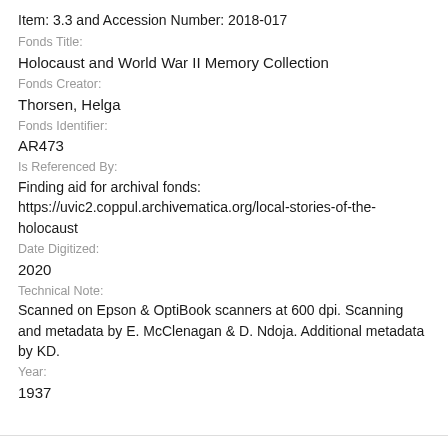Item: 3.3 and Accession Number: 2018-017
Fonds Title:
Holocaust and World War II Memory Collection
Fonds Creator:
Thorsen, Helga
Fonds Identifier:
AR473
Is Referenced By:
Finding aid for archival fonds: https://uvic2.coppul.archivematica.org/local-stories-of-the-holocaust
Date Digitized:
2020
Technical Note:
Scanned on Epson & OptiBook scanners at 600 dpi. Scanning and metadata by E. McClenagan & D. Ndoja. Additional metadata by KD.
Year:
1937